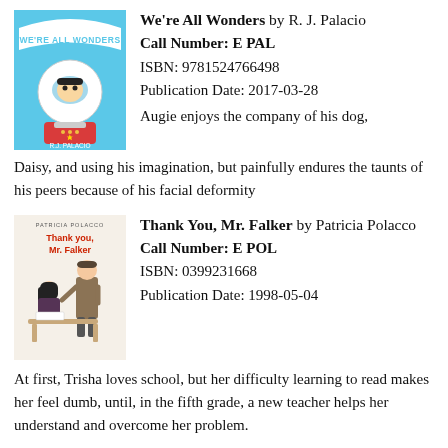[Figure (illustration): Book cover of 'We're All Wonders' showing a child in a space helmet/astronaut suit against a colorful background]
We're All Wonders by R. J. Palacio
Call Number: E PAL
ISBN: 9781524766498
Publication Date: 2017-03-28
Augie enjoys the company of his dog, Daisy, and using his imagination, but painfully endures the taunts of his peers because of his facial deformity
[Figure (illustration): Book cover of 'Thank You, Mr. Falker' showing a girl and a teacher at a desk]
Thank You, Mr. Falker by Patricia Polacco
Call Number: E POL
ISBN: 0399231668
Publication Date: 1998-05-04
At first, Trisha loves school, but her difficulty learning to read makes her feel dumb, until, in the fifth grade, a new teacher helps her understand and overcome her problem.